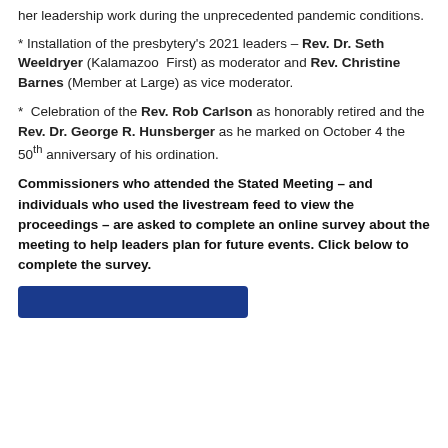her leadership work during the unprecedented pandemic conditions.
* Installation of the presbytery's 2021 leaders – Rev. Dr. Seth Weeldryer (Kalamazoo First) as moderator and Rev. Christine Barnes (Member at Large) as vice moderator.
* Celebration of the Rev. Rob Carlson as honorably retired and the Rev. Dr. George R. Hunsberger as he marked on October 4 the 50th anniversary of his ordination.
Commissioners who attended the Stated Meeting – and individuals who used the livestream feed to view the proceedings – are asked to complete an online survey about the meeting to help leaders plan for future events. Click below to complete the survey.
[Figure (other): Blue button for completing the survey]